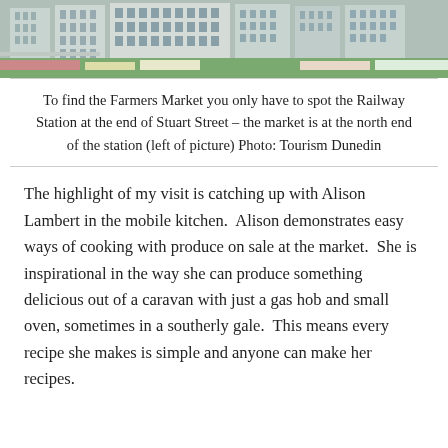[Figure (photo): A photograph of a railway station building with surrounding gardens and flowers, appearing to be the Dunedin Railway Station on Stuart Street.]
To find the Farmers Market you only have to spot the Railway Station at the end of Stuart Street – the market is at the north end of the station (left of picture) Photo: Tourism Dunedin
The highlight of my visit is catching up with Alison Lambert in the mobile kitchen.  Alison demonstrates easy ways of cooking with produce on sale at the market.  She is inspirational in the way she can produce something delicious out of a caravan with just a gas hob and small oven, sometimes in a southerly gale.  This means every recipe she makes is simple and anyone can make her recipes.